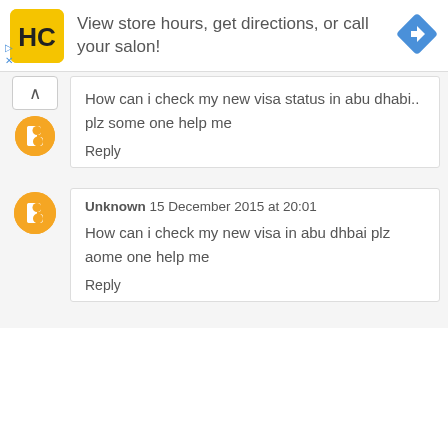[Figure (infographic): Ad banner with HC salon logo and navigation arrow icon. Text: View store hours, get directions, or call your salon!]
How can i check my new visa status in abu dhabi.. plz some one help me
Reply
Unknown 15 December 2015 at 20:01
How can i check my new visa in abu dhbai plz aome one help me
Reply